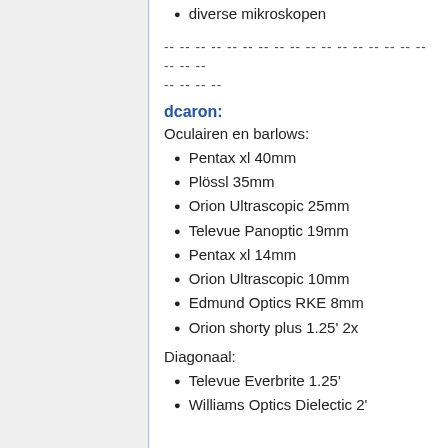diverse mikroskopen
-- -- -- -- -- -- -- -- -- -- -- -- -- -- -- -- -- -- -- -- -- -- --
dcaron:
Oculairen en barlows:
Pentax xl 40mm
Plössl 35mm
Orion Ultrascopic 25mm
Televue Panoptic 19mm
Pentax xl 14mm
Orion Ultrascopic 10mm
Edmund Optics RKE 8mm
Orion shorty plus 1.25' 2x
Diagonaal:
Televue Everbrite 1.25'
Williams Optics Dielectic 2'